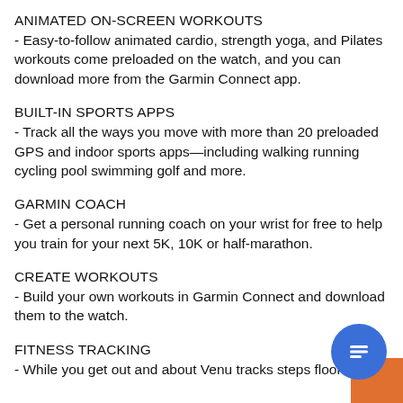ANIMATED ON-SCREEN WORKOUTS
- Easy-to-follow animated cardio, strength yoga, and Pilates workouts come preloaded on the watch, and you can download more from the Garmin Connect app.
BUILT-IN SPORTS APPS
- Track all the ways you move with more than 20 preloaded GPS and indoor sports apps—including walking running cycling pool swimming golf and more.
GARMIN COACH
- Get a personal running coach on your wrist for free to help you train for your next 5K, 10K or half-marathon.
CREATE WORKOUTS
- Build your own workouts in Garmin Connect and download them to the watch.
FITNESS TRACKING
- While you get out and about Venu tracks steps floors